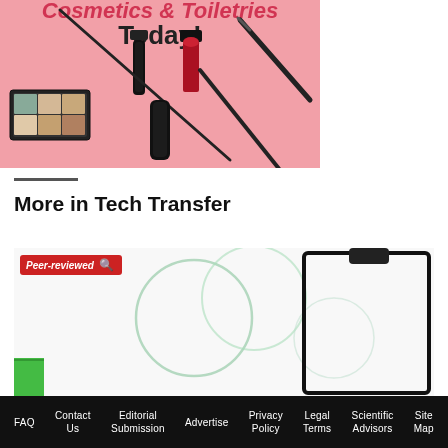[Figure (photo): Advertisement for Cosmetics & Toiletries magazine showing cosmetics products on a pink background including lipstick, nail polish, mascara, eyeshadow palette, and makeup brushes with text 'Today!']
More in Tech Transfer
[Figure (photo): Article thumbnail image with a 'Peer-reviewed' red badge showing petri dishes and a clipboard with circular glass objects on white background]
FAQ  Contact Us  Editorial Submission  Advertise  Privacy Policy  Legal Terms  Scientific Advisors  Site Map